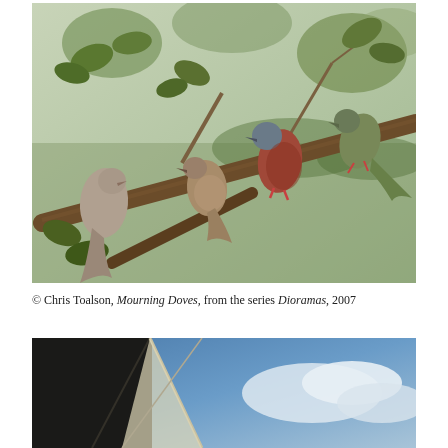[Figure (photo): Museum diorama photograph showing four mourning doves perched on branches among oak leaves, with a painted landscape background. The birds are taxidermied specimens with brown and grey plumage.]
© Chris Toalson, Mourning Doves, from the series Dioramas, 2007
[Figure (photo): Partial photograph showing what appears to be a geometric structure or sail against a blue sky with clouds, mostly cropped at the bottom of the page.]